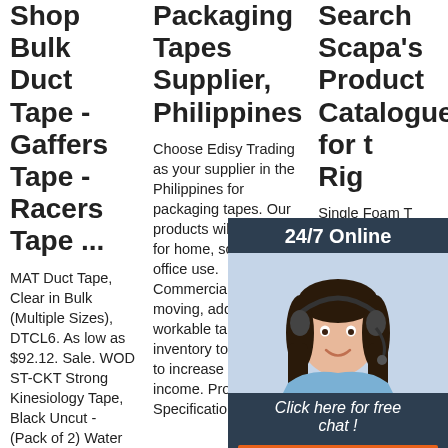Shop Bulk Duct Tape - Gaffers Tape - Racers Tape ...
MAT Duct Tape, Clear in Bulk (Multiple Sizes), DTCL6. As low as $92.12. Sale. WOD ST-CKT Strong Kinesiology Tape, Black Uncut - (Pack of 2) Water Resistant, Highly Elastic, Hypoallergenic, Kinesiology Sports, & Physio
Packaging Tapes Supplier, Philippines
Choose Edisy Trading as your supplier in the Philippines for packaging tapes. Our products will be perfect for home, school, and office use. Commercially fast moving, add a workable tape inventory to your store to increase sales income. Product Specifications:
Search Scapa's Product Catalogue for the Right
[Figure (infographic): Overlay widget with dark blue header '24/7 Online', photo of woman with headset, dark blue bar with italic text 'Click here for free chat !', orange button with text 'QUOTATION']
Single Foam Rubber Single Foam Acrylic Gaffer Tape, Tape. Chromakey Blue and Green Tape. Gaffer Tape. Matt Waterproof Cloth Tape. Premium Waterproof Cloth
[Figure (logo): TOP badge with orange dots triangle and orange bold text 'TOP']